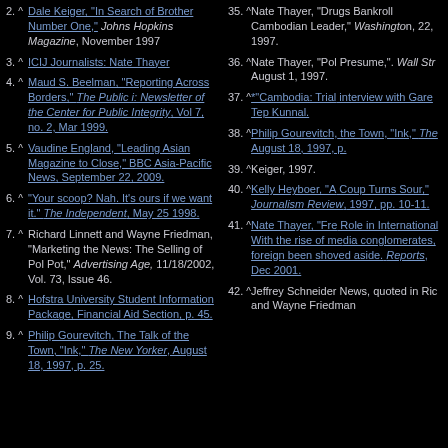2. ^ Dale Keiger, "In Search of Brother Number One," Johns Hopkins Magazine, November 1997
3. ^ ICIJ Journalists: Nate Thayer
4. ^ Maud S. Beelman, "Reporting Across Borders," The Public i: Newsletter of the Center for Public Integrity, Vol 7, no. 2, Mar 1999.
5. ^ Vaudine England, "Leading Asian Magazine to Close," BBC Asia-Pacific News, September 22, 2009.
6. ^ "Your scoop? Nah. It's ours if we want it." The Independent, May 25 1998.
7. ^ Richard Linnett and Wayne Friedman, "Marketing the News: The Selling of Pol Pot," Advertising Age, 11/18/2002, Vol. 73, Issue 46.
8. ^ Hofstra University Student Information Package, Financial Aid Section, p. 45.
9. ^ Philip Gourevitch, The Talk of the Town, "Ink," The New Yorker, August 18, 1997, p. 25.
35. ^ Nate Thayer, "Drugs Bankroll Cambodian Leader," Washington, 22, 1997.
36. ^ Nate Thayer, "Pol Presume,". Wall Str August 1, 1997.
37. ^ *"Cambodia: Trial interview with Gare Tep Kunnal.
38. ^ Philip Gourevitch, the Town, "Ink," The August 18, 1997, p.
39. ^ Keiger, 1997.
40. ^ Kelly Heyboer, "A Coup Turns Sour," Journalism Review, 1997, pp. 10-11.
41. ^ Nate Thayer, "Fre Role in International With the rise of me conglomerates, fore been shoved aside. Reports, Dec 2001.
42. ^ Jeffrey Schneider News, quoted in Ri and Wayne Friedm